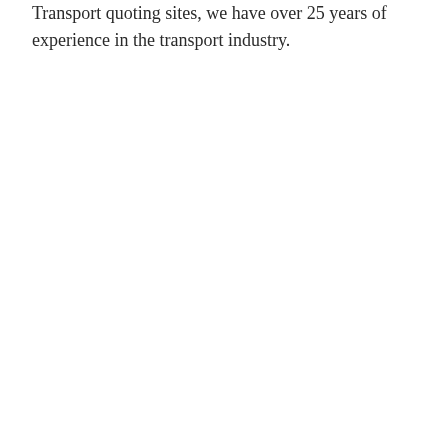Transport quoting sites, we have over 25 years of experience in the transport industry.